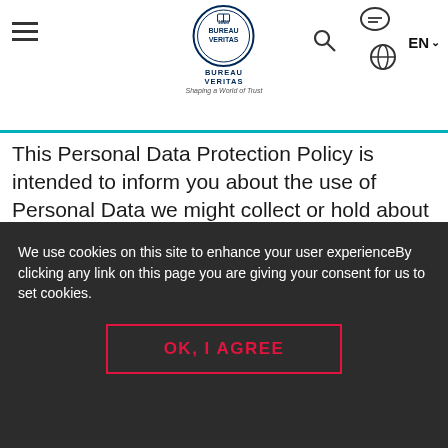[Figure (logo): Bureau Veritas logo with circular seal, text BUREAU VERITAS and tagline Shaping a World of Trust, plus navigation icons (hamburger menu, search, chat bubble, language globe, EN language selector)]
This Personal Data Protection Policy is intended to inform you about the use of Personal Data we might collect or hold about you, how we use it, who we share it with, how we protect it and keep it secure, and your rights about your Personal Data.
Please note that we may update this Personal Data Protection Policy at any time to adapt it to
We use cookies on this site to enhance your user experienceBy clicking any link on this page you are giving your consent for us to set cookies.
OK, I AGREE